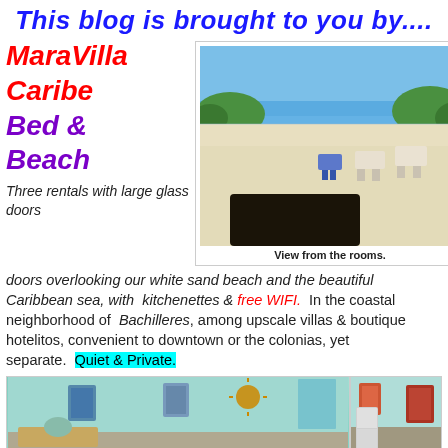This blog is brought to you by....
MaraVilla Caribe Bed & Beach
[Figure (photo): Beach view from the rooms showing white sand, beach chairs, ocean and vegetation]
View from the rooms.
Three rentals with large glass doors overlooking our white sand beach and the beautiful Caribbean sea, with kitchenettes & free WIFI. In the coastal neighborhood of Bachilleres, among upscale villas & boutique hotelitos, convenient to downtown or the colonias, yet separate. Quiet & Private.
[Figure (photo): Interior room photos showing teal/mint colored walls with artwork and furnishings]